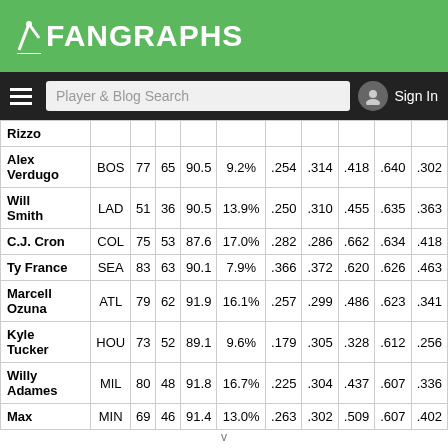FanGraphs
| Player | Team |  |  |  |  |  |  |  |  |  |
| --- | --- | --- | --- | --- | --- | --- | --- | --- | --- | --- |
| Rizzo |  |  |  |  |  |  |  |  |  |  |
| Alex Verdugo | BOS | 77 | 65 | 90.5 | 9.2% | .254 | .314 | .418 | .640 | .302 |
| Will Smith | LAD | 51 | 36 | 90.5 | 13.9% | .250 | .310 | .455 | .635 | .363 |
| C.J. Cron | COL | 75 | 53 | 87.6 | 17.0% | .282 | .286 | .662 | .634 | .418 |
| Ty France | SEA | 83 | 63 | 90.1 | 7.9% | .366 | .372 | .620 | .626 | .463 |
| Marcell Ozuna | ATL | 79 | 62 | 91.9 | 16.1% | .257 | .299 | .486 | .623 | .341 |
| Kyle Tucker | HOU | 73 | 52 | 89.1 | 9.6% | .179 | .305 | .328 | .612 | .256 |
| Willy Adames | MIL | 80 | 48 | 91.8 | 16.7% | .225 | .304 | .437 | .607 | .336 |
| Max | MIN | 69 | 46 | 91.4 | 13.0% | .263 | .302 | .509 | .607 | .402 |